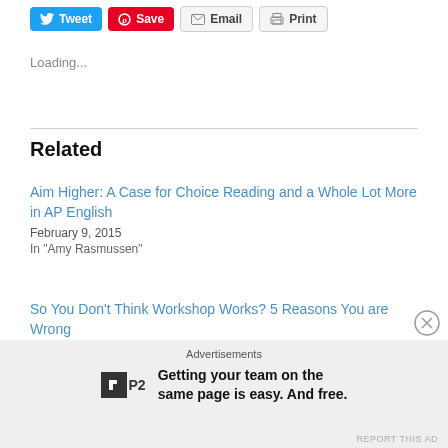[Figure (other): Social sharing buttons: Tweet (blue), Save (red), Email (grey), Print (grey)]
Loading...
Related
Aim Higher: A Case for Choice Reading and a Whole Lot More in AP English
February 9, 2015
In "Amy Rasmussen"
So You Don't Think Workshop Works? 5 Reasons You are Wrong
February 13, 2018
In "Amy Rasmussen"
Advertisements
Getting your team on the same page is easy. And free.